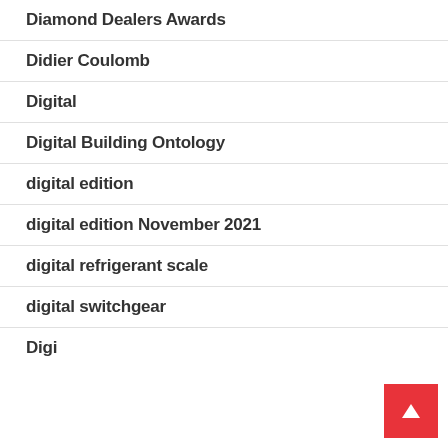Diamond Dealers Awards
Didier Coulomb
Digital
Digital Building Ontology
digital edition
digital edition November 2021
digital refrigerant scale
digital switchgear
Digi...